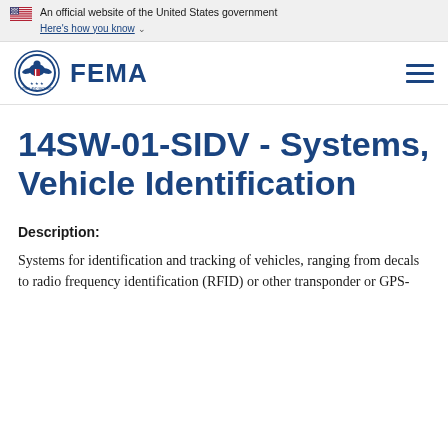An official website of the United States government
Here's how you know
[Figure (logo): FEMA logo with DHS seal and FEMA wordmark, plus hamburger menu icon]
14SW-01-SIDV - Systems, Vehicle Identification
Description:
Systems for identification and tracking of vehicles, ranging from decals to radio frequency identification (RFID) or other transponder or GPS-